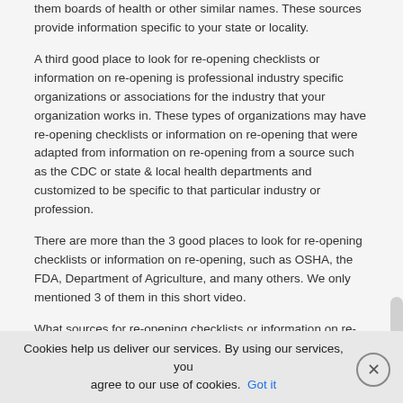them boards of health or other similar names. These sources provide information specific to your state or locality.
A third good place to look for re-opening checklists or information on re-opening is professional industry specific organizations or associations for the industry that your organization works in. These types of organizations may have re-opening checklists or information on re-opening that were adapted from information on re-opening from a source such as the CDC or state & local health departments and customized to be specific to that particular industry or profession.
There are more than the 3 good places to look for re-opening checklists or information on re-opening, such as OSHA, the FDA, Department of Agriculture, and many others. We only mentioned 3 of them in this short video.
What sources for re-opening checklists or information on re-opening during infectious disease outbreaks, such as the COVID-19 pandemic, have you found to be helpful for your organization?
Cookies help us deliver our services. By using our services, you agree to our use of cookies. Got it